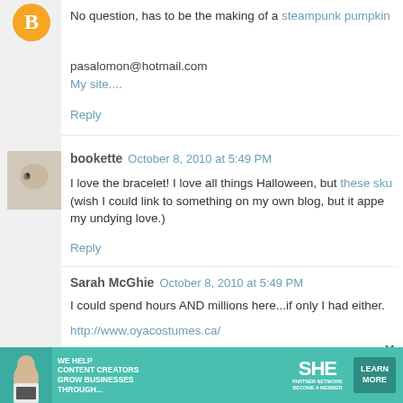No question, has to be the making of a steampunk pumpkin
pasalomon@hotmail.com
My site....
Reply
bookette  October 8, 2010 at 5:49 PM
I love the bracelet! I love all things Halloween, but these sku (wish I could link to something on my own blog, but it appe my undying love.)
Reply
Sarah McGhie  October 8, 2010 at 5:49 PM
I could spend hours AND millions here...if only I had either.
http://www.oyacostumes.ca/
Thanks for the laugh every day,
Sarah
Jfeeney@eastlink.ca
[Figure (other): Advertisement banner for SHE Media Partner Network with person holding laptop, teal background, 'We Help Content Creators Grow Businesses Through...' text, and 'Learn More' button]